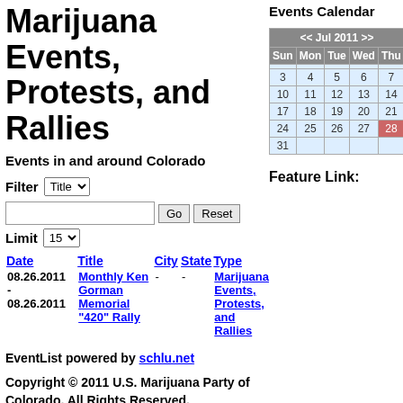Marijuana Events, Protests, and Rallies
Events in and around Colorado
Filter [Title dropdown] [search box] [Go] [Reset] Limit [15 dropdown]
| Date | Title | City | State | Type |
| --- | --- | --- | --- | --- |
| 08.26.2011 - 08.26.2011 | Monthly Ken Gorman Memorial "420" Rally | - | - | Marijuana Events, Protests, and Rallies |
EventList powered by schlu.net
Copyright © 2011 U.S. Marijuana Party of Colorado. All Rights Reserved. Joomla! is Free Software released under the GNU/GPL License.
Events Calendar
[Figure (other): Calendar widget showing July 2011 with navigation arrows << and >>. Dates shown: 3-7, 10-14, 17-21, 24-28, 31. Day 28 highlighted in red/today.]
Feature Link: